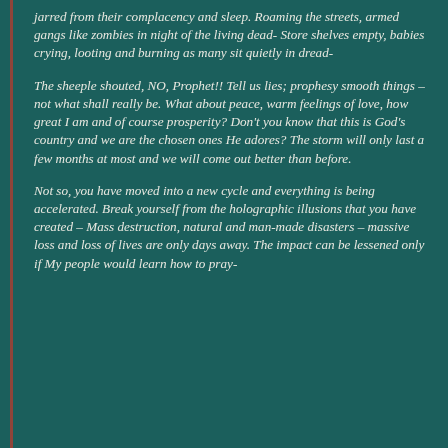jarred from their complacency and sleep. Roaming the streets, armed gangs like zombies in night of the living dead- Store shelves empty, babies crying, looting and burning as many sit quietly in dread-
The sheeple shouted, NO, Prophet!! Tell us lies; prophesy smooth things – not what shall really be. What about peace, warm feelings of love, how great I am and of course prosperity? Don't you know that this is God's country and we are the chosen ones He adores? The storm will only last a few months at most and we will come out better than before.
Not so, you have moved into a new cycle and everything is being accelerated. Break yourself from the holographic illusions that you have created – Mass destruction, natural and man-made disasters – massive loss and loss of lives are only days away. The impact can be lessened only if My people would learn how to pray-